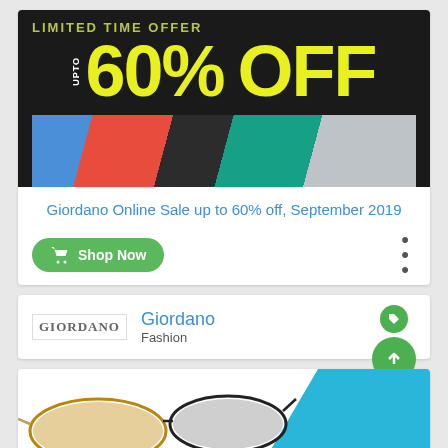[Figure (infographic): Promotional banner for Giordano sale: dark background with 'LIMITED TIME OFFER' text, 'UPTO 60% OFF' in large yellow text, and a strip of colorful clothing photos below]
Giordano Online Sale up to 60% off, September 2019
Shop Now
Giordano
Fashion
[Figure (photo): Bottom of page showing sunglasses product image on left and blue diagonal background on right]